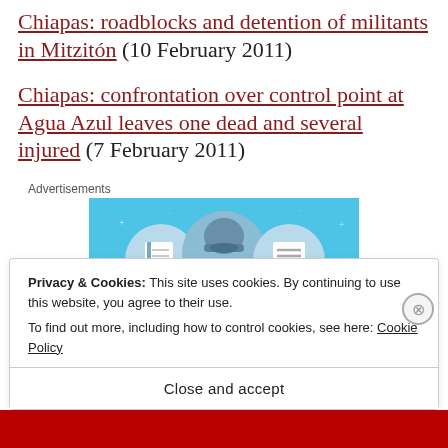Chiapas: roadblocks and detention of militants in Mitzitón (10 February 2011)
Chiapas: confrontation over control point at Agua Azul leaves one dead and several injured (7 February 2011)
[Figure (screenshot): Advertisement banner with light blue background showing three circular icons: a notebook/document, a person with helmet, and a document list. Labeled 'Advertisements' above.]
Privacy & Cookies: This site uses cookies. By continuing to use this website, you agree to their use. To find out more, including how to control cookies, see here: Cookie Policy
Close and accept